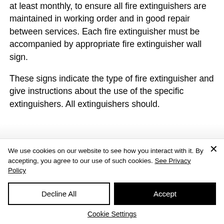at least monthly, to ensure all fire extinguishers are maintained in working order and in good repair between services. Each fire extinguisher must be accompanied by appropriate fire extinguisher wall sign.

These signs indicate the type of fire extinguisher and give instructions about the use of the specific extinguishers. All extinguishers should.
We use cookies on our website to see how you interact with it. By accepting, you agree to our use of such cookies. See Privacy Policy
Decline All
Accept
Cookie Settings